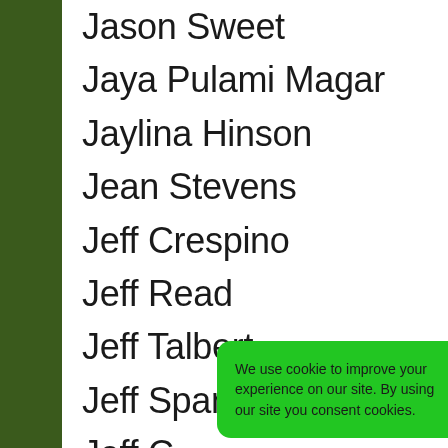Jason Sweet
Jaya Pulami Magar
Jaylina Hinson
Jean Stevens
Jeff Crespino
Jeff Read
Jeff Talbert
Jeff Spanos
Jeff C[obscured]
Jeffrey[obscured]
Jeffrey Grimes
We use cookie to improve your experience on our site. By using our site you consent cookies.